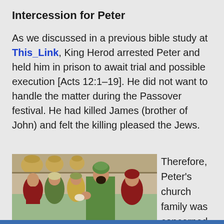Intercession for Peter
As we discussed in a previous bible study at This_Link, King Herod arrested Peter and held him in prison to await trial and possible execution [Acts 12:1–19]. He did not want to handle the matter during the Passover festival. He had killed James (brother of John) and felt the killing pleased the Jews.
[Figure (illustration): Bible illustration showing several men gathered together, one in a green robe reaching out, others in various colored clothing, with baskets visible in background]
Therefore, Peter's church family was concerned